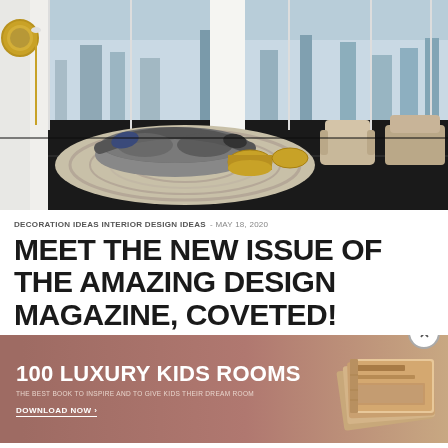[Figure (photo): Luxury penthouse interior with floor-to-ceiling windows overlooking a city skyline, featuring a curved grey sofa, gold coffee tables, and a black floor with a patterned rug]
DECORATION IDEAS INTERIOR DESIGN IDEAS - MAY 18, 2020
MEET THE NEW ISSUE OF THE AMAZING DESIGN MAGAZINE, COVETED!
[Figure (infographic): Advertisement banner for '100 LUXURY KIDS ROOMS' book with text 'THE BEST BOOK TO INSPIRE AND TO GIVE KIDS THEIR DREAM ROOM' and 'DOWNLOAD NOW >' CTA, showing a partial image of a stacked book on the right side]